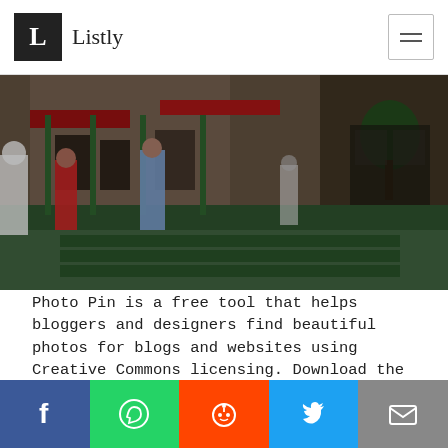L Listly
[Figure (photo): Street scene with people walking near a building with green iron fencing and storefront awnings]
Photo Pin is a free tool that helps bloggers and designers find beautiful photos for blogs and websites using Creative Commons licensing. Download the photo and an attribution link already formatted for
This website uses cookies to ensure you get the best experience on our website. Learn more
Got it!